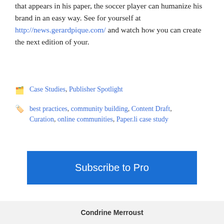that appears in his paper, the soccer player can humanize his brand in an easy way. See for yourself at http://news.gerardpique.com/ and watch how you can create the next edition of your.
Case Studies, Publisher Spotlight
best practices, community building, Content Draft, Curation, online communities, Paper.li case study
Subscribe to Pro
Condrine Merroust